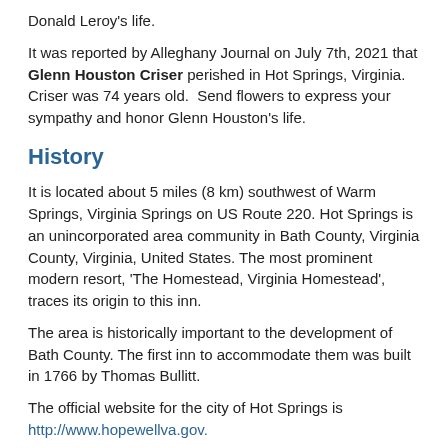Donald Leroy's life.
It was reported by Alleghany Journal on July 7th, 2021 that Glenn Houston Criser perished in Hot Springs, Virginia. Criser was 74 years old. Send flowers to express your sympathy and honor Glenn Houston's life.
History
It is located about 5 miles (8 km) southwest of Warm Springs, Virginia Springs on US Route 220. Hot Springs is an unincorporated area community in Bath County, Virginia County, Virginia, United States. The most prominent modern resort, 'The Homestead, Virginia Homestead', traces its origin to this inn.
The area is historically important to the development of Bath County. The first inn to accommodate them was built in 1766 by Thomas Bullitt.
The official website for the city of Hot Springs is http://www.hopewellva.gov.